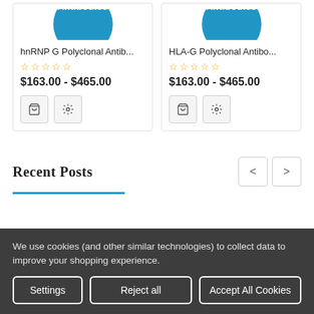[Figure (illustration): Product card for hnRNP G Polyclonal Antibody with blue circle logo, star rating, and price]
[Figure (illustration): Product card for HLA-G Polyclonal Antibody with blue circle logo, star rating, and price]
Recent Posts
We use cookies (and other similar technologies) to collect data to improve your shopping experience.
Settings | Reject all | Accept All Cookies